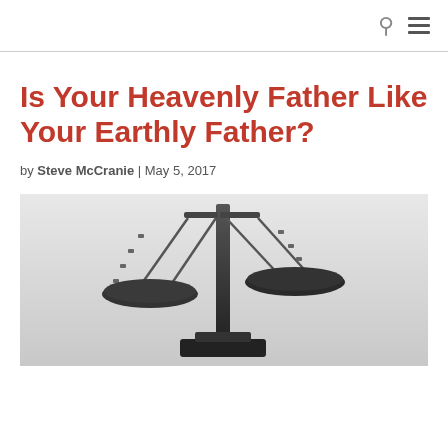Is Your Heavenly Father Like Your Earthly Father?
by Steve McCranie | May 5, 2017
[Figure (photo): Black and white close-up photograph of a balance scale (scales of justice) with two pans hanging from chains, set against a light grey background.]